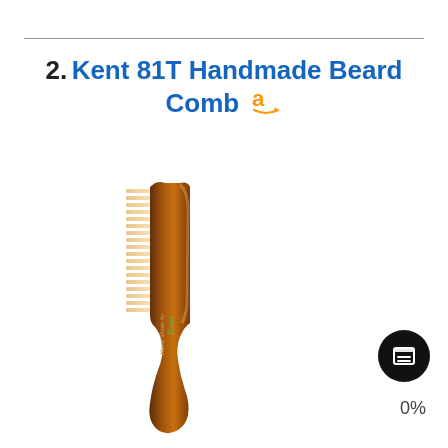2. Kent 81T Handmade Beard Comb
[Figure (photo): Kent 81T handmade beard comb — a tortoiseshell-colored acetate comb with fine teeth on the upper portion and a curved handle, with 'Hand Made by Kent' and 'Sawcut 81T' text engraved on the body.]